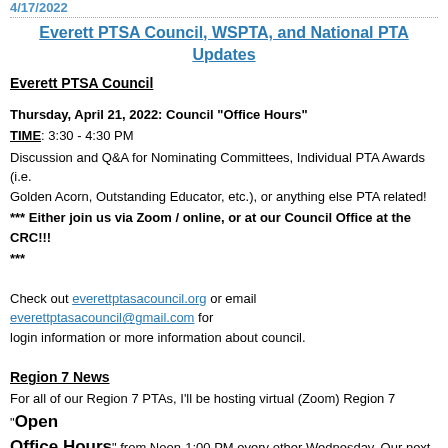4/17/2022
Everett PTSA Council, WSPTA, and National PTA Updates
Everett PTSA Council
Thursday, April 21, 2022: Council "Office Hours"
TIME: 3:30 - 4:30 PM
Discussion and Q&A for Nominating Committees, Individual PTA Awards (i.e. Golden Acorn, Outstanding Educator, etc.), or anything else PTA related!
*** Either join us via Zoom / online, or at our Council Office at the CRC!!! ***
Check out everettptasacouncil.org or email everettptasacouncil@gmail.com for login information or more information about council.
Region 7 News
For all of our Region 7 PTAs, I'll be hosting virtual (Zoom) Region 7 "Open Office Hours" from Noon-1:00 PM every other Wednesday. Our next Region 7 "Open Office Hours" will be on Wednesday, April 27. Please feel free to pop in for five minutes or for the whole hour. If that time doesn't work for you,